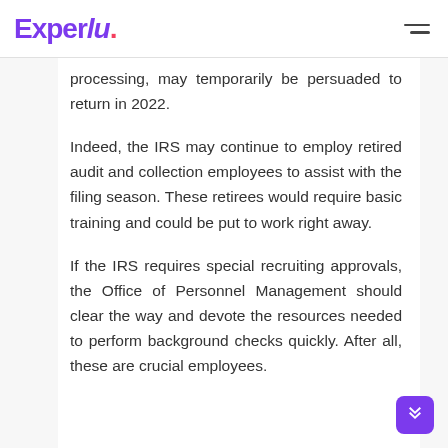Experlu.
processing, may temporarily be persuaded to return in 2022.
Indeed, the IRS may continue to employ retired audit and collection employees to assist with the filing season. These retirees would require basic training and could be put to work right away.
If the IRS requires special recruiting approvals, the Office of Personnel Management should clear the way and devote the resources needed to perform background checks quickly. After all, these are crucial employees.